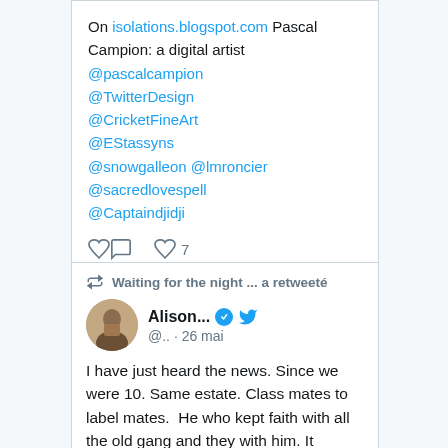On isolations.blogspot.com Pascal Campion: a digital artist @pascalcampion @TwitterDesign @CricketFineArt @EStassyns @snowgalleon @lmroncier @sacredlovespell @Captaindjidji
7 likes
Waiting for the night ... a retweeté
Alison... @.. · 26 mai
I have just heard the news. Since we were 10. Same estate. Class mates to label mates.  He who kept faith with all the old gang and they with him. It